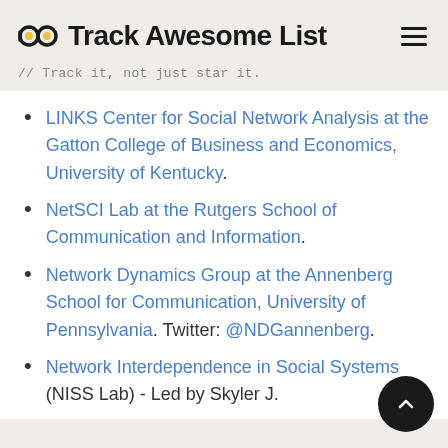Track Awesome List
// Track it, not just star it.
LINKS Center for Social Network Analysis at the Gatton College of Business and Economics, University of Kentucky.
NetSCI Lab at the Rutgers School of Communication and Information.
Network Dynamics Group at the Annenberg School for Communication, University of Pennsylvania. Twitter: @NDGannenberg.
Network Interdependence in Social Systems (NISS Lab) - Led by Skyler J.